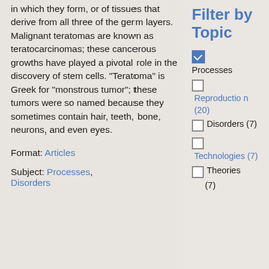in which they form, or of tissues that derive from all three of the germ layers. Malignant teratomas are known as teratocarcinomas; these cancerous growths have played a pivotal role in the discovery of stem cells. "Teratoma" is Greek for "monstrous tumor"; these tumors were so named because they sometimes contain hair, teeth, bone, neurons, and even eyes.
Format: Articles
Subject: Processes, Disorders
Filter by Topic
[checked] Processes
Reproduction (20)
Disorders (7)
Technologies (7)
Theories (7)